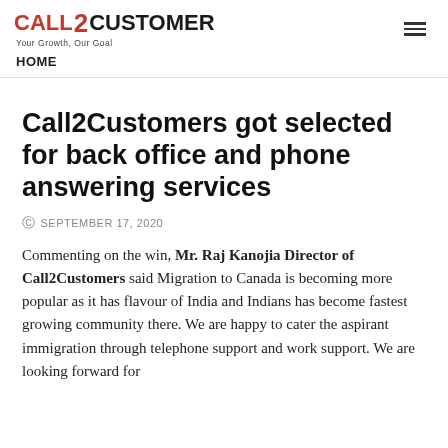CALL2CUSTOMER Your Growth, Our Goal  HOME
Call2Customers got selected for back office and phone answering services
SEPTEMBER 17, 2020
Commenting on the win, Mr. Raj Kanojia Director of Call2Customers said Migration to Canada is becoming more popular as it has flavour of India and Indians has become fastest growing community there. We are happy to cater the aspirant immigration through telephone support and work support. We are looking forward for